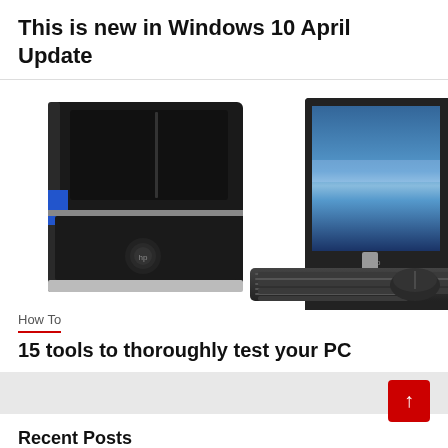This is new in Windows 10 April Update
[Figure (photo): HP desktop computer with tower, widescreen monitor showing blue HP wallpaper, keyboard, and mouse]
How To
15 tools to thoroughly test your PC
Recent Posts